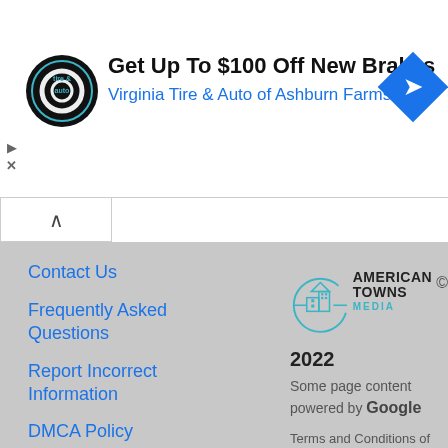[Figure (illustration): Advertisement banner: Virginia Tire & Auto logo (circular black badge), headline 'Get Up To $100 Off New Brakes', subtext 'Virginia Tire & Auto of Ashburn Farms', blue diamond arrow icon on right. Play and X icons on left side.]
Get Up To $100 Off New Brakes
Virginia Tire & Auto of Ashburn Farms
[Figure (logo): American Towns Media logo: circular icon with city/building line art in blue and teal, text AMERICAN TOWNS in bold dark, MEDIA in teal, year 2022 below, copyright symbol to the right.]
Contact Us
Frequently Asked Questions
Report Incorrect Information
DMCA Policy
Some page content powered by Google
Terms and Conditions of Use | Privacy Policy | Contact Us